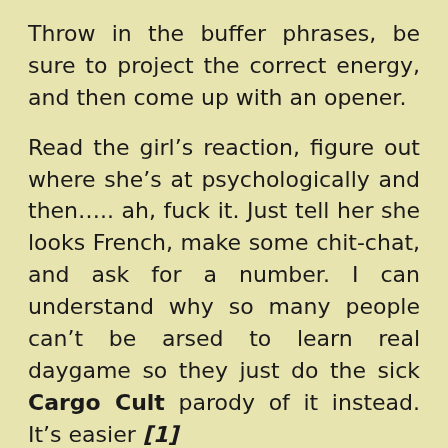Throw in the buffer phrases, be sure to project the correct energy, and then come up with an opener.
Read the girl's reaction, figure out where she's at psychologically and then….. ah, fuck it. Just tell her she looks French, make some chit-chat, and ask for a number. I can understand why so many people can't be arsed to learn real daygame so they just do the sick Cargo Cult parody of it instead. It's easier [1]
Difficult as daygame is, we are merely competing against other normal men (or players [2]) and the